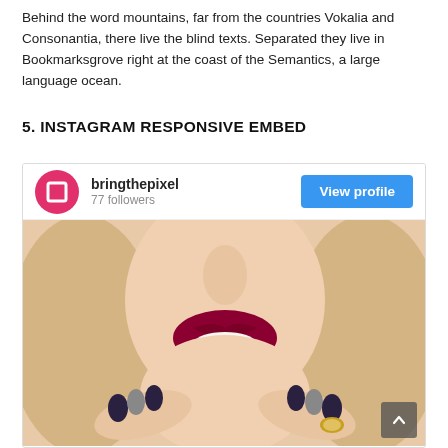Behind the word mountains, far from the countries Vokalia and Consonantia, there live the blind texts. Separated they live in Bookmarksgrove right at the coast of the Semantics, a large language ocean.
5. INSTAGRAM RESPONSIVE EMBED
[Figure (screenshot): Instagram embed widget showing user 'bringthepixel' with 77 followers and a View profile button, followed by a fashion photo of a woman with red lipstick and dark nail polish.]